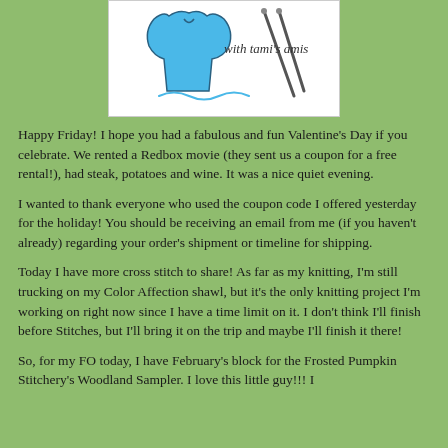[Figure (illustration): Logo illustration for 'with tami's amis' showing a blue shirt/garment and knitting needles on a white background with a hand-drawn style.]
Happy Friday! I hope you had a fabulous and fun Valentine's Day if you celebrate. We rented a Redbox movie (they sent us a coupon for a free rental!), had steak, potatoes and wine. It was a nice quiet evening.
I wanted to thank everyone who used the coupon code I offered yesterday for the holiday! You should be receiving an email from me (if you haven't already) regarding your order's shipment or timeline for shipping.
Today I have more cross stitch to share! As far as my knitting, I'm still trucking on my Color Affection shawl, but it's the only knitting project I'm working on right now since I have a time limit on it. I don't think I'll finish before Stitches, but I'll bring it on the trip and maybe I'll finish it there!
So, for my FO today, I have February's block for the Frosted Pumpkin Stitchery's Woodland Sampler. I love this little guy!!! I